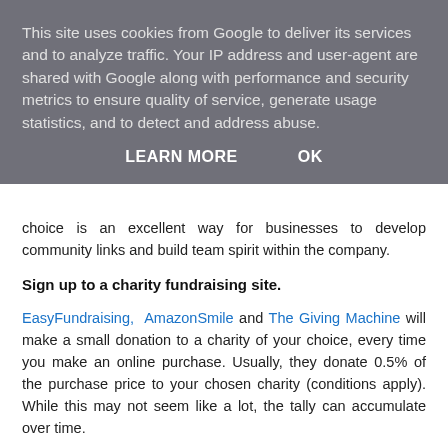This site uses cookies from Google to deliver its services and to analyze traffic. Your IP address and user-agent are shared with Google along with performance and security metrics to ensure quality of service, generate usage statistics, and to detect and address abuse.
LEARN MORE   OK
choice is an excellent way for businesses to develop community links and build team spirit within the company.
Sign up to a charity fundraising site.
EasyFundraising, AmazonSmile and The Giving Machine will make a small donation to a charity of your choice, every time you make an online purchase. Usually, they donate 0.5% of the purchase price to your chosen charity (conditions apply). While this may not seem like a lot, the tally can accumulate over time.
We can all do our bit and rise to the community challenge that the awful Covid-19 epidemic has laid down before us.